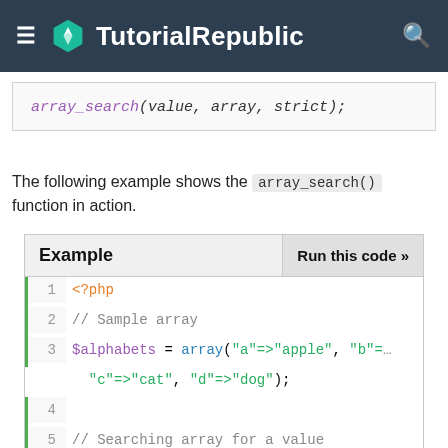TutorialRepublic
The following example shows the array_search() function in action.
| Example | Run this code » |
| --- | --- |
| 1 | <?php |
| 2 | // Sample array |
| 3 | $alphabets = array("a"=>"apple", "b"=>... "c"=>"cat", "d"=>"dog"); |
| 4 |  |
| 5 | // Searching array for a value |
| 6 | echo array_search("ball", $alphabets); |
| 7 | echo array_search("dog", $alphabets); |
| 8 | ?> |